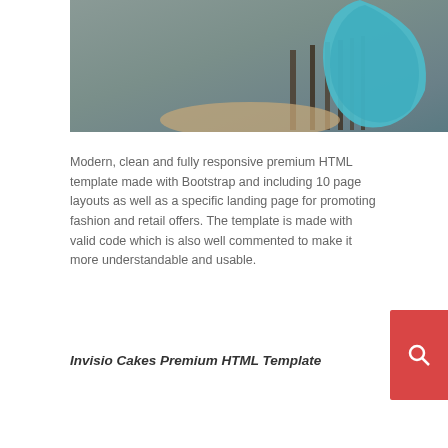[Figure (photo): Fashion photo showing a teal/turquoise garment draped over a wooden chair against a grey background]
Modern, clean and fully responsive premium HTML template made with Bootstrap and including 10 page layouts as well as a specific landing page for promoting fashion and retail offers. The template is made with valid code which is also well commented to make it more understandable and usable.
Invisio Cakes Premium HTML Template